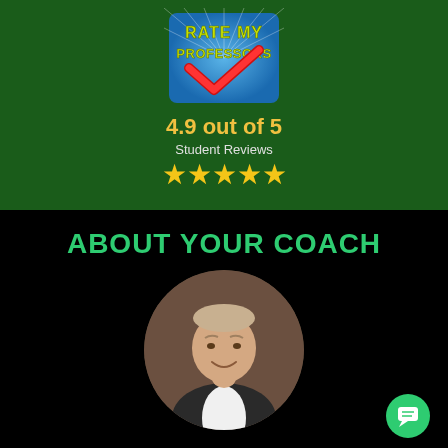[Figure (logo): Rate My Professors logo with red checkmark on blue background]
4.9 out of 5
Student Reviews
[Figure (illustration): Five gold stars rating]
ABOUT YOUR COACH
[Figure (photo): Circular headshot of a middle-aged man in a dark blazer and white shirt, smiling]
[Figure (illustration): Green circular chat/message button icon in bottom right corner]